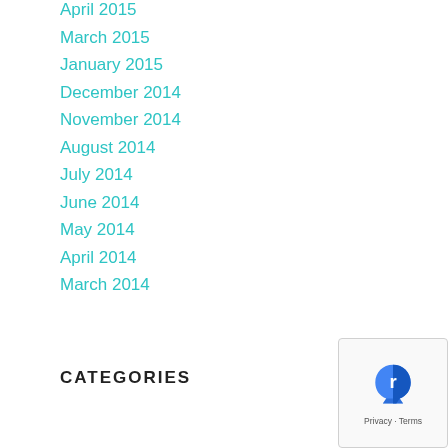April 2015
March 2015
January 2015
December 2014
November 2014
August 2014
July 2014
June 2014
May 2014
April 2014
March 2014
CATEGORIES